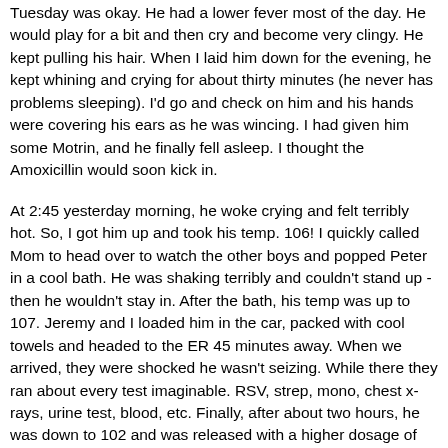Tuesday was okay.  He had a lower fever most of the day.  He would play for a bit and then cry and become very clingy.  He kept pulling his hair.  When I laid him down for the evening, he kept whining and crying for about thirty minutes (he never has problems sleeping).  I'd go and check on him and his hands were covering his ears as he was wincing.  I had given him some Motrin, and he finally fell asleep.  I thought the Amoxicillin would soon kick in.
At 2:45 yesterday morning, he woke crying and felt terribly hot.  So, I got him up and took his temp.  106!  I quickly called Mom to head over to watch the other boys and popped Peter in a cool bath.  He was shaking terribly and couldn't stand up - then he wouldn't stay in.  After the bath, his temp was up to 107.  Jeremy and I loaded him in the car, packed with cool towels and headed to the ER 45 minutes away.  When we arrived, they were shocked he wasn't seizing.  While there they ran about every test imaginable.  RSV, strep, mono, chest x-rays, urine test, blood, etc.  Finally, after about two hours, he was down to 102 and was released with a higher dosage of Amoxicillin for a double ear infection.